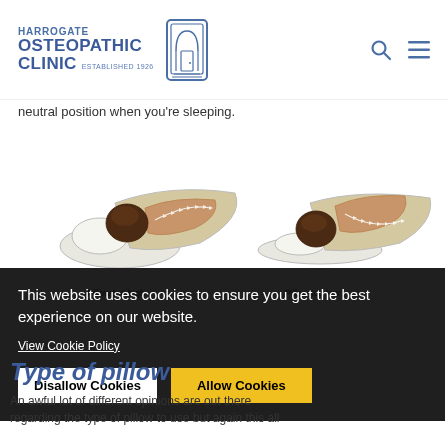HARROGATE OSTEOPATHIC CLINIC ESTABLISHED 1926
neutral position when you're sleeping.
[Figure (illustration): Two side-by-side medical illustrations showing a person lying on their side. Left illustration shows 'Pillow too high' with the spine angled upward due to an overly thick pillow. Right illustration shows 'Pillow too low' with the spine angled downward due to a thin pillow. Spine alignment is indicated with arrow markers.]
Pillow too high
Pillow too low
This website uses cookies to ensure you get the best experience on our website.
View Cookie Policy
Disallow Cookies
Allow Cookies
Type of pillow
An awful lot of different opinions are out there regarding the type of pillow to use but again this all